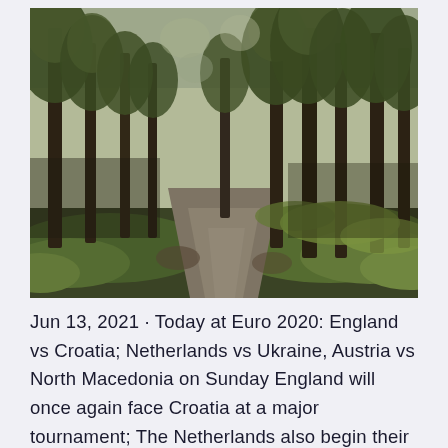[Figure (photo): A forest path winding through tall conifer trees with green mossy ground cover, photographed in a muted, slightly warm vintage tone.]
Jun 13, 2021 · Today at Euro 2020: England vs Croatia; Netherlands vs Ukraine, Austria vs North Macedonia on Sunday England will once again face Croatia at a major tournament; The Netherlands also begin their Jun 10, 2021 · The battle for second place should be a fierce